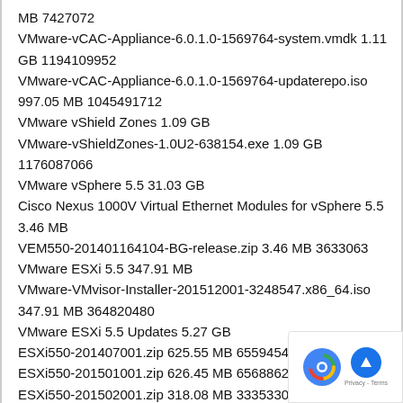MB 7427072
VMware-vCAC-Appliance-6.0.1.0-1569764-system.vmdk 1.11 GB 1194109952
VMware-vCAC-Appliance-6.0.1.0-1569764-updaterepo.iso 997.05 MB 1045491712
VMware vShield Zones 1.09 GB
VMware-vShieldZones-1.0U2-638154.exe 1.09 GB 1176087066
VMware vSphere 5.5 31.03 GB
Cisco Nexus 1000V Virtual Ethernet Modules for vSphere 5.5 3.46 MB
VEM550-201401164104-BG-release.zip 3.46 MB 3633063
VMware ESXi 5.5 347.91 MB
VMware-VMvisor-Installer-201512001-3248547.x86_64.iso 347.91 MB 364820480
VMware ESXi 5.5 Updates 5.27 GB
ESXi550-201407001.zip 625.55 MB 655945453
ESXi550-201501001.zip 626.45 MB 656886261
ESXi550-201502001.zip 318.08 MB 333533064